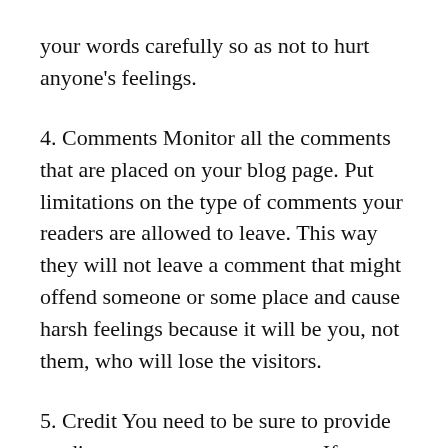your words carefully so as not to hurt anyone's feelings.
4. Comments Monitor all the comments that are placed on your blog page. Put limitations on the type of comments your readers are allowed to leave. This way they will not leave a comment that might offend someone or some place and cause harsh feelings because it will be you, not them, who will lose the visitors.
5. Credit You need to be sure to provide credit to any resources you use. If you fail to do this step you will fall into the rule number 2 of copyright laws and you will be deemed unethical. These are just 5 common and basic